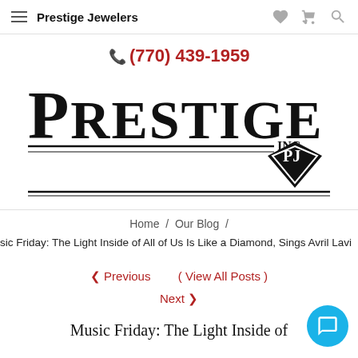Prestige Jewelers
📞 (770) 439-1959
[Figure (logo): Prestige Jewelers Inc. logo with diamond PJ emblem and decorative lines]
Home / Our Blog /
sic Friday: The Light Inside of All of Us Is Like a Diamond, Sings Avril Lavi
< Previous   ( View All Posts )
Next >
Music Friday: The Light Inside of